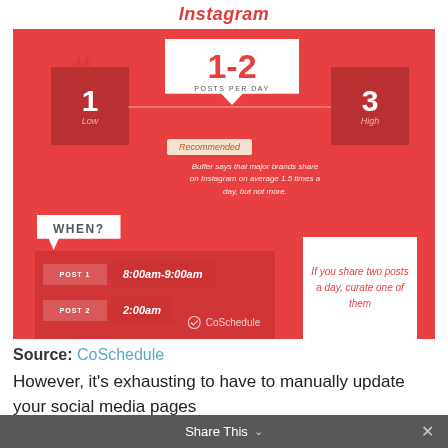Instagram
[Figure (infographic): Instagram posting frequency infographic: Low=1 post/day, Recommended=1-2 posts per day, High=3 posts/day. WHEN? Post 1: 8:00am-9:00am, Post 2: 2:00am. Quote: If you share two posts a day, curate one of them. Source: CoSchedule. Buffer says that major brands share on Instagram on average 1.5 times a day, but not more.]
Source: CoSchedule
However, it's exhausting to have to manually update your social media pages